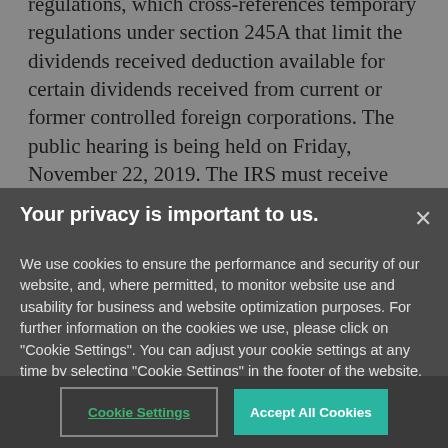regulations, which cross-references temporary regulations under section 245A that limit the dividends received deduction available for certain dividends received from current or former controlled foreign corporations. The public hearing is being held on Friday, November 22, 2019. The IRS must receive outlines of the topics to be discussed at the public hearing by Monday, November 11, 2019.
Your privacy is important to us.
We use cookies to ensure the performance and security of our website, and, where permitted, to monitor website use and usability for business and website optimization purposes. For further information on the cookies we use, please click on "Cookie Settings". You can adjust your cookie settings at any time by selecting "Cookie Settings" in the footer of the website.
Cookie Settings
Accept All Cookies